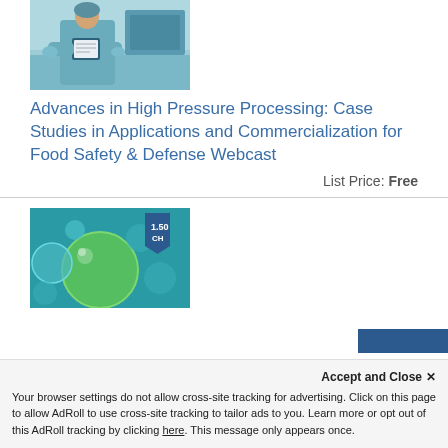[Figure (photo): Person in blue lab coat/scrubs holding a tablet in what appears to be a food processing or laboratory facility]
Advances in High Pressure Processing: Case Studies in Applications and Commercialization for Food Safety & Defense Webcast
List Price: Free
[Figure (photo): Close-up of green bubbles or spheres on a blue-green background, with a blue bookmark badge showing '1.50 CH']
Accept and Close ✕
Your browser settings do not allow cross-site tracking for advertising. Click on this page to allow AdRoll to use cross-site tracking to tailor ads to you. Learn more or opt out of this AdRoll tracking by clicking here. This message only appears once.